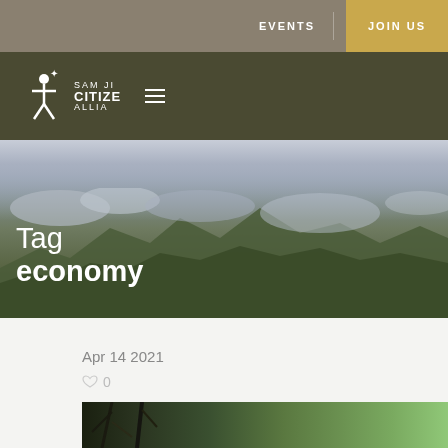EVENTS  JOIN US
[Figure (logo): San Ji Citizens Alliance logo with stylized figure icon and hamburger menu]
[Figure (photo): Mountain landscape with dramatic cloudy sky, forested ridges and rocky peaks]
Tag economy
Apr 14 2021
0
[Figure (photo): Partial thumbnail of a tree canopy photo for a blog post]